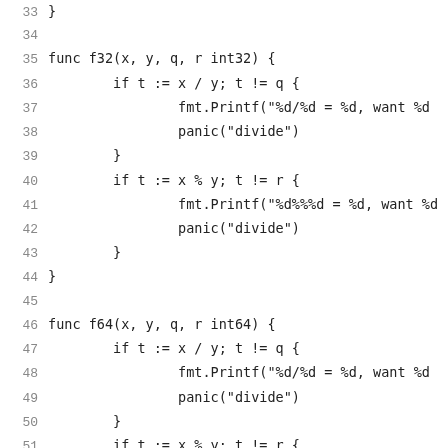33    }
34
35    func f32(x, y, q, r int32) {
36            if t := x / y; t != q {
37                    fmt.Printf("%d/%d = %d, want %d
38                    panic("divide")
39            }
40            if t := x % y; t != r {
41                    fmt.Printf("%d%%%d = %d, want %d
42                    panic("divide")
43            }
44    }
45
46    func f64(x, y, q, r int64) {
47            if t := x / y; t != q {
48                    fmt.Printf("%d/%d = %d, want %d
49                    panic("divide")
50            }
51            if t := x % y; t != r {
52                    fmt.Printf("%d%%%d = %d, want %d
53                    panic("divide")
54            }